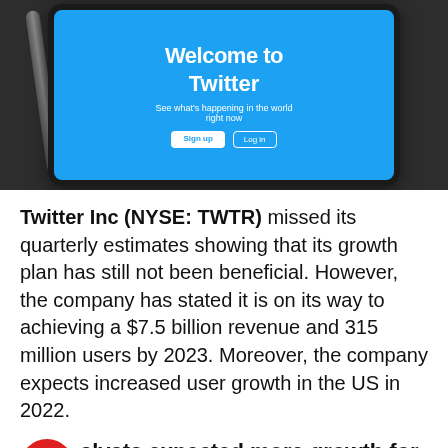[Figure (photo): Photo of a smartphone displaying Twitter's 'Welcome to Twitter' login screen with 'See what's happening in the world right now', Sign Up and Log In buttons, resting on a dark surface with a stylus nearby.]
Twitter Inc (NYSE: TWTR) missed its quarterly estimates showing that its growth plan has still not been beneficial. However, the company has stated it is on its way to achieving a $7.5 billion revenue and 315 million users by 2023. Moreover, the company expects increased user growth in the US in 2022.
Analysts expected more growth for Twitter